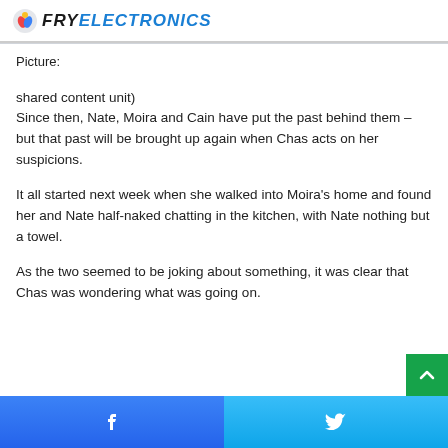FRY ELECTRONICS
Picture:
shared content unit)
Since then, Nate, Moira and Cain have put the past behind them – but that past will be brought up again when Chas acts on her suspicions.
It all started next week when she walked into Moira's home and found her and Nate half-naked chatting in the kitchen, with Nate nothing but a towel.
As the two seemed to be joking about something, it was clear that Chas was wondering what was going on.
Facebook | Twitter